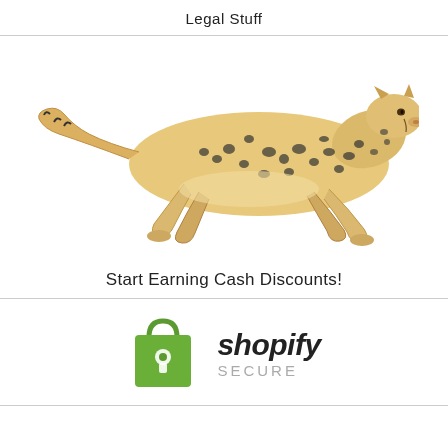Legal Stuff
[Figure (photo): A cheetah running at full speed, leaping in mid-air against a white background.]
Start Earning Cash Discounts!
[Figure (logo): Shopify Secure logo: a green shopping bag with a keyhole icon next to the text 'shopify SECURE'.]